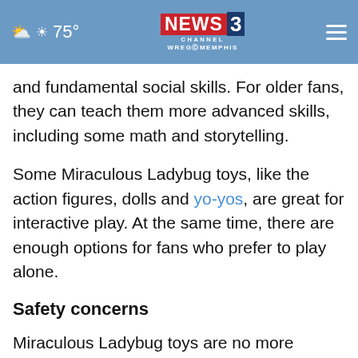75° NEWS CHANNEL 3 WREG MEMPHIS
and fundamental social skills. For older fans, they can teach them more advanced skills, including some math and storytelling.
Some Miraculous Ladybug toys, like the action figures, dolls and yo-yos, are great for interactive play. At the same time, there are enough options for fans who prefer to play alone.
Safety concerns
Miraculous Ladybug toys are no more dangerous than any other toy. That said, there are a few ways to make sure any toy you choose for a child is safe.